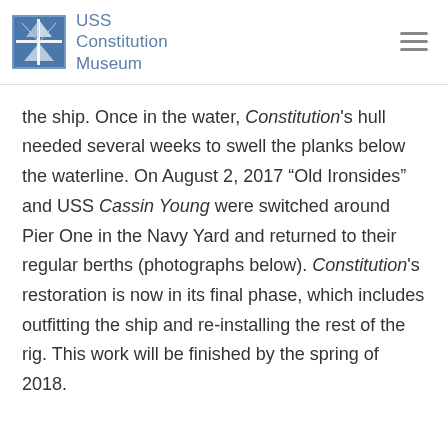USS Constitution Museum
the ship. Once in the water, Constitution's hull needed several weeks to swell the planks below the waterline. On August 2, 2017 "Old Ironsides" and USS Cassin Young were switched around Pier One in the Navy Yard and returned to their regular berths (photographs below). Constitution's restoration is now in its final phase, which includes outfitting the ship and re-installing the rest of the rig. This work will be finished by the spring of 2018.